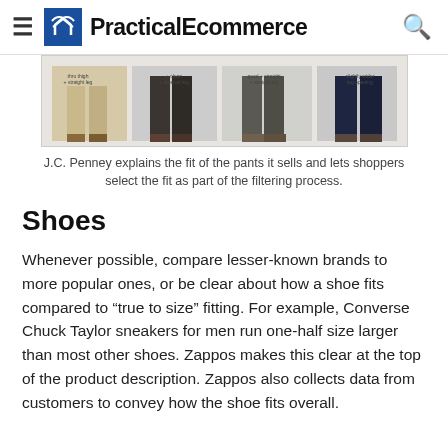PracticalEcommerce
[Figure (photo): J.C. Penney pants fit guide showing different pant leg styles with labels like 'thru thigh + straight leg', 'clean + tapered leg', 'good + straight leg', and 'slightly wider leg opening' with images of men's lower legs in various pant styles.]
J.C. Penney explains the fit of the pants it sells and lets shoppers select the fit as part of the filtering process.
Shoes
Whenever possible, compare lesser-known brands to more popular ones, or be clear about how a shoe fits compared to “true to size” fitting. For example, Converse Chuck Taylor sneakers for men run one-half size larger than most other shoes. Zappos makes this clear at the top of the product description. Zappos also collects data from customers to convey how the shoe fits overall.